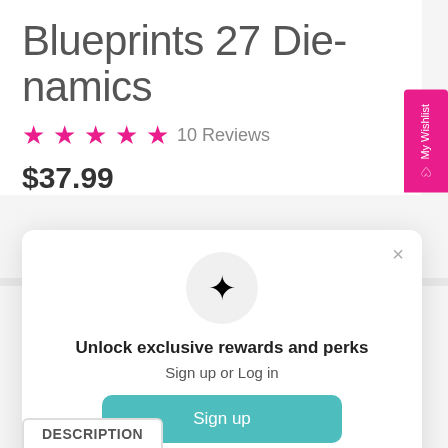Blueprints 27 Die-namics
★★★★★ 10 Reviews
$37.99
[Figure (screenshot): My Wishlist vertical tab in pink on right side]
Unlock exclusive rewards and perks
Sign up or Log in
Sign up
Already have an account? Sign in
DESCRIPTION